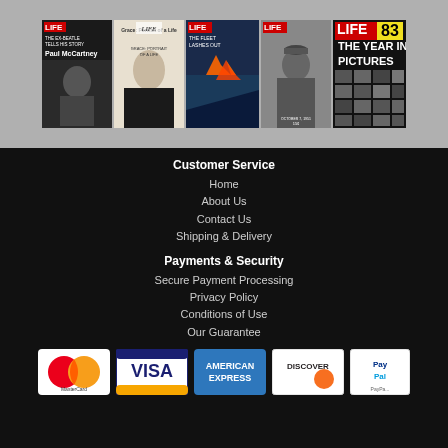[Figure (photo): Strip of five LIFE magazine covers including Paul McCartney issue, Grace Kelly/Princess of Monaco issue, Fleet issue, military general issue, and 1983 Year in Pictures issue]
Customer Service
Home
About Us
Contact Us
Shipping & Delivery
Payments & Security
Secure Payment Processing
Privacy Policy
Conditions of Use
Our Guarantee
[Figure (logo): Payment method logos: MasterCard, Visa, American Express, Discover, PayPal]